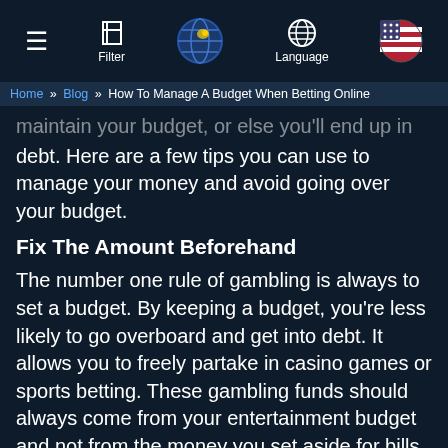Online gambling is fun and can help you make some quick bucks as well. But you need to maintain your budget, or else you'll end up in debt. Here are a few tips you can use to manage your money and avoid going over your budget.
Home » Blog » How To Manage A Budget When Betting Online
maintain your budget, or else you'll end up in debt. Here are a few tips you can use to manage your money and avoid going over your budget.
Fix The Amount Beforehand
The number one rule of gambling is always to set a budget. By keeping a budget, you're less likely to go overboard and get into debt. It allows you to freely partake in casino games or sports betting. These gambling funds should always come from your entertainment budget and not from the money you set aside for bills and food. Ideally, this entertainment money is around 10% of your monthly income, but you can increase or